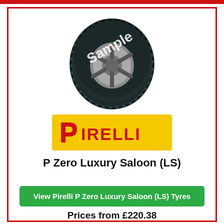[Figure (photo): Pirelli tyre product image with 'Sample' watermark text overlaid diagonally]
[Figure (logo): Pirelli logo on yellow background with red text reading PIRELLI]
P Zero Luxury Saloon (LS)
View Pirelli P Zero Luxury Saloon (LS) Tyres
Prices from £220.38